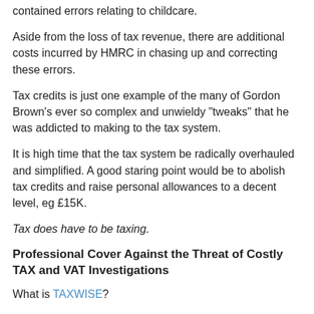contained errors relating to childcare.
Aside from the loss of tax revenue, there are additional costs incurred by HMRC in chasing up and correcting these errors.
Tax credits is just one example of the many of Gordon Brown's ever so complex and unwieldy "tweaks" that he was addicted to making to the tax system.
It is high time that the tax system be radically overhauled and simplified. A good staring point would be to abolish tax credits and raise personal allowances to a decent level, eg £15K.
Tax does have to be taxing.
Professional Cover Against the Threat of Costly TAX and VAT Investigations
What is TAXWISE?
TAXWISE is a tax-fee protection service that will pay up to £75,000 towards your accountant's fees in the event of an